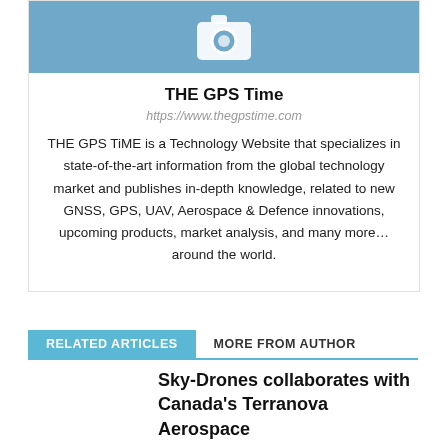[Figure (logo): Camera icon on a blue/steel background representing THE GPS Time website logo]
THE GPS Time
https://www.thegpstime.com
THE GPS TiME is a Technology Website that specializes in state-of-the-art information from the global technology market and publishes in-depth knowledge, related to new GNSS, GPS, UAV, Aerospace & Defence innovations, upcoming products, market analysis, and many more… around the world.
RELATED ARTICLES
MORE FROM AUTHOR
Sky-Drones collaborates with Canada's Terranova Aerospace
S.E.A. Datentechnik GmbH & M3